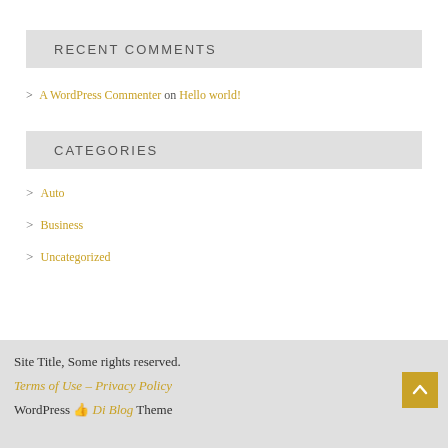RECENT COMMENTS
> A WordPress Commenter on Hello world!
CATEGORIES
> Auto
> Business
> Uncategorized
Site Title, Some rights reserved.
Terms of Use – Privacy Policy
WordPress Di Blog Theme